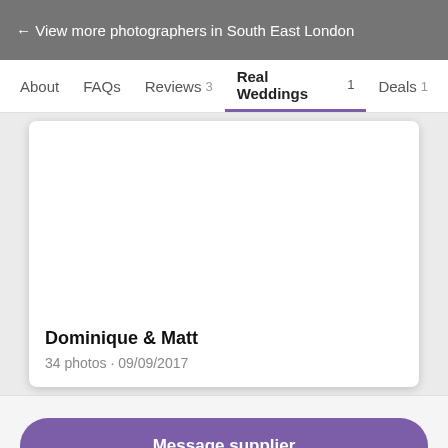← View more photographers in South East London
About   FAQs   Reviews 3   Real Weddings 1   Deals 1
Dominique & Matt
34 photos · 09/09/2017
Message supplier